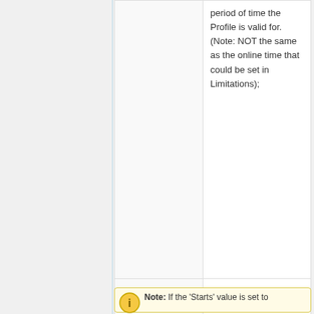| Parameter | Description |
| --- | --- |
|  | period of time the Profile is valid for. (Note: NOT the same as the online time that could be set in Limitations); |
| name (string; Default: ) | Used to identify profile |
| owner (string; Default: ) | The 'Owner' of the Profile (usually 'admin'); |
Note: If the 'Starts' value is set to